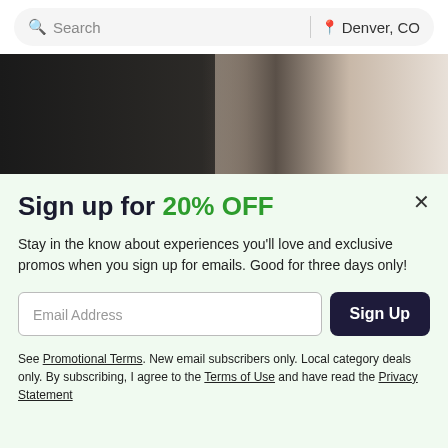[Figure (screenshot): Search bar with search icon and 'Search' placeholder text, a vertical divider, and location pin icon with 'Denver, CO' text. Rounded pill-shaped bar on light gray background.]
[Figure (photo): Cropped photo showing two figures in a bedroom scene, dark on left side, lighter on right with white bedding visible.]
Sign up for 20% OFF
Stay in the know about experiences you'll love and exclusive promos when you sign up for emails. Good for three days only!
Email Address
Sign Up
See Promotional Terms. New email subscribers only. Local category deals only. By subscribing, I agree to the Terms of Use and have read the Privacy Statement